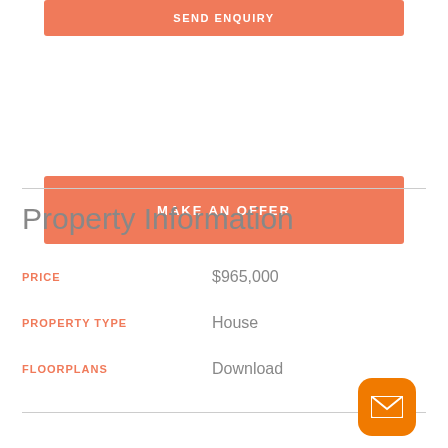SEND ENQUIRY
MAKE AN OFFER
Property Information
PRICE   $965,000
PROPERTY TYPE   House
FLOORPLANS   Download